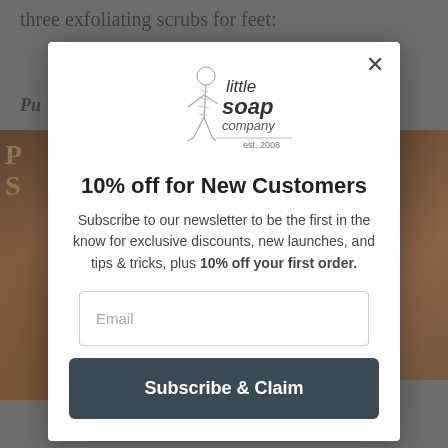three exfoliating scrubs for feet:
[Figure (screenshot): Modal popup overlay on a website for Little Soap Company. Contains logo, promotional headline, subscription text, email input field, and a subscribe button.]
10% off for New Customers
Subscribe to our newsletter to be the first in the know for exclusive discounts, new launches, and tips & tricks, plus 10% off your first order.
Email
Subscribe & Claim